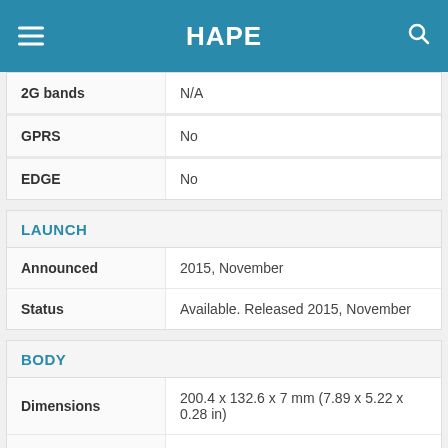HAPE
| Field | Value |
| --- | --- |
| 2G bands | N/A |
| GPRS | No |
| EDGE | No |
LAUNCH
| Field | Value |
| --- | --- |
| Announced | 2015, November |
| Status | Available. Released 2015, November |
BODY
| Field | Value |
| --- | --- |
| Dimensions | 200.4 x 132.6 x 7 mm (7.89 x 5.22 x 0.28 in) |
| Weight | 322 g (11.36 oz) |
| SIM | No |
DISPLAY